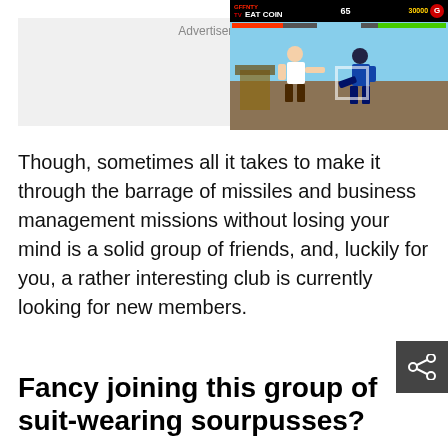[Figure (screenshot): Advertisement placeholder box with 'Advertisement' label, and a video game screenshot showing a fighting game with two characters, HUD elements including health bars, timer showing 65, and score 30000]
Though, sometimes all it takes to make it through the barrage of missiles and business management missions without losing your mind is a solid group of friends, and, luckily for you, a rather interesting club is currently looking for new members.
Fancy joining this group of suit-wearing sourpusses?